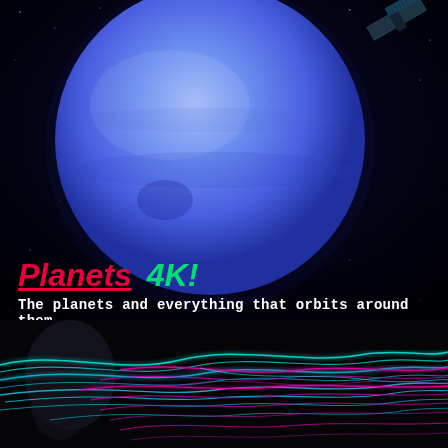[Figure (photo): Blue planet (Neptune) against a black starry space background, with a partial view of a satellite in the upper right corner. The planet is large, blue-purple, and centered in the upper half of the image.]
Planets 4K!
The planets and everything that orbits around them.
[Figure (photo): Long-exposure light painting photograph showing colorful streaks of cyan/teal and magenta/pink light trails waving across a dark background with a blurred figure visible on the left.]